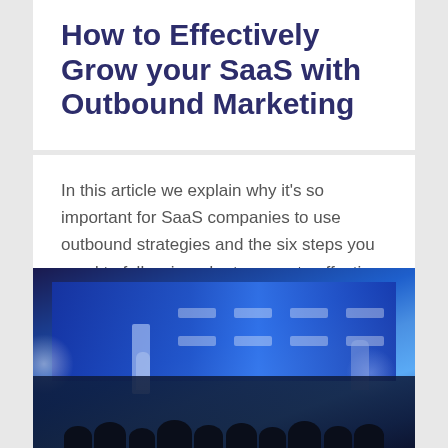How to Effectively Grow your SaaS with Outbound Marketing
In this article we explain why it's so important for SaaS companies to use outbound strategies and the six steps you need to follow in order to execute effective outbound campaigns.
[Figure (photo): Blurred photo of a conference stage with a speaker at a podium, blue-lit backdrop with white banner text panels, and a dark audience silhouette in the foreground.]